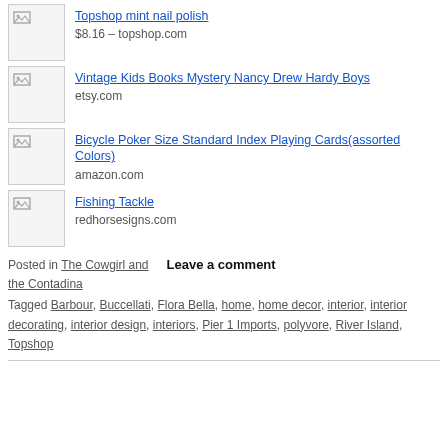Topshop mint nail polish
$8.16 – topshop.com
Vintage Kids Books Mystery Nancy Drew Hardy Boys
etsy.com
Bicycle Poker Size Standard Index Playing Cards(assorted Colors)
amazon.com
Fishing Tackle
redhorsesigns.com
Posted in The Cowgirl and the Contadina   Leave a comment
Tagged Barbour, Buccellati, Flora Bella, home, home decor, interior, interior decorating, interior design, interiors, Pier 1 Imports, polyvore, River Island, Topshop